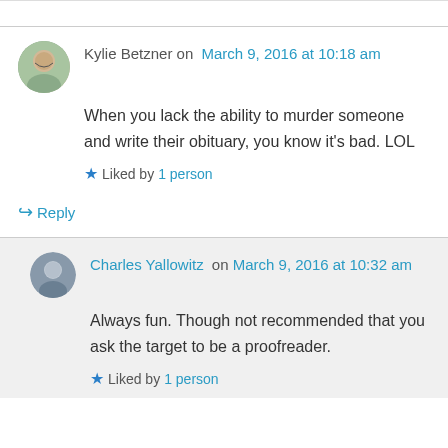Reply (truncated top)
Kylie Betzner on March 9, 2016 at 10:18 am
When you lack the ability to murder someone and write their obituary, you know it's bad. LOL
Liked by 1 person
Reply
Charles Yallowitz on March 9, 2016 at 10:32 am
Always fun. Though not recommended that you ask the target to be a proofreader.
Liked by 1 person